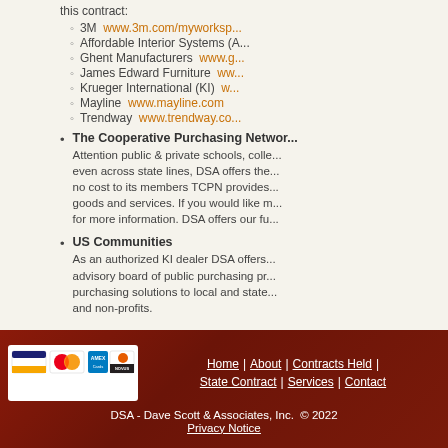this contract:
3M ◦ www.3m.com/myworksp...
Affordable Interior Systems (A...
Ghent Manufacturers ◦ www....
James Edward Furniture ◦ w...
Krueger International (KI) ◦ w...
Mayline ◦ www.mayline.com
Trendway ◦ www.trendway.co...
The Cooperative Purchasing Network
Attention public & private schools, colleges, even across state lines, DSA offers the no cost to its members TCPN provides goods and services. If you would like more for more information. DSA offers our fu...
US Communities
As an authorized KI dealer DSA offers advisory board of public purchasing purchasing solutions to local and state and non-profits.
Home | About | Contracts Held | State Contract | Services | Contact
DSA - Dave Scott & Associates, Inc. © 2022
Privacy Notice